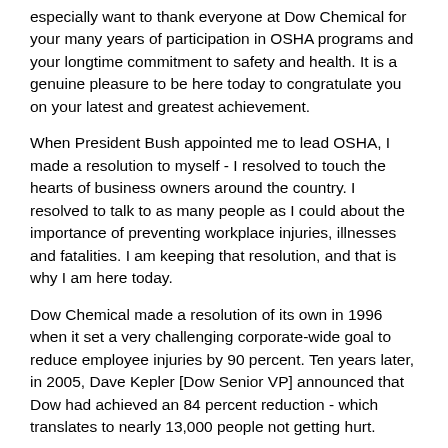especially want to thank everyone at Dow Chemical for your many years of participation in OSHA programs and your longtime commitment to safety and health. It is a genuine pleasure to be here today to congratulate you on your latest and greatest achievement.
When President Bush appointed me to lead OSHA, I made a resolution to myself - I resolved to touch the hearts of business owners around the country. I resolved to talk to as many people as I could about the importance of preventing workplace injuries, illnesses and fatalities. I am keeping that resolution, and that is why I am here today.
Dow Chemical made a resolution of its own in 1996 when it set a very challenging corporate-wide goal to reduce employee injuries by 90 percent. Ten years later, in 2005, Dave Kepler [Dow Senior VP] announced that Dow had achieved an 84 percent reduction - which translates to nearly 13,000 people not getting hurt.
That is 13,000 employees contributing to Dow's productivity.
13,000 people helping to keep Dow competitive.